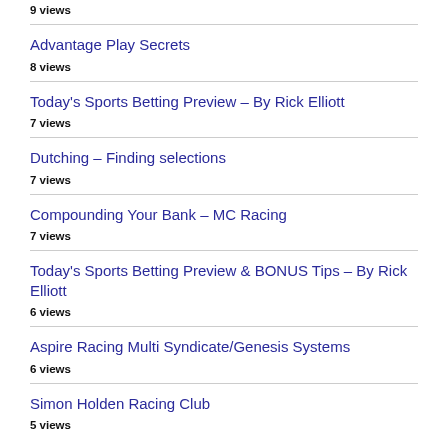9 views
Advantage Play Secrets
8 views
Today's Sports Betting Preview – By Rick Elliott
7 views
Dutching – Finding selections
7 views
Compounding Your Bank – MC Racing
7 views
Today's Sports Betting Preview & BONUS Tips – By Rick Elliott
6 views
Aspire Racing Multi Syndicate/Genesis Systems
6 views
Simon Holden Racing Club
5 views